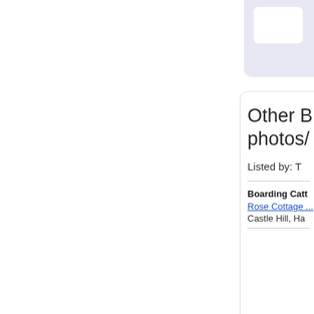[Figure (screenshot): Partial view of a website sidebar showing a rounded lavender/white card at the top (partially cropped)]
Other B... photos/...
Listed by: T...
Boarding Catt...
Rose Cottage ...
Castle Hill, Ha...
[Figure (screenshot): Bottom card with heading starting with 'W' and a cartoon cat illustration (orange striped cat running/sliding)]